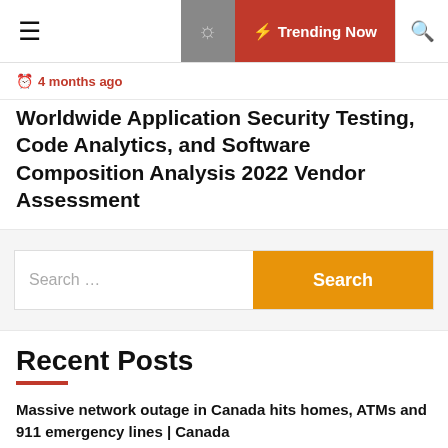☰  🌙  ⚡ Trending Now  🔍
⏱ 4 months ago
Worldwide Application Security Testing, Code Analytics, and Software Composition Analysis 2022 Vendor Assessment
Search ...
Recent Posts
Massive network outage in Canada hits homes, ATMs and 911 emergency lines | Canada
23 Best Digital Marketing Agencies In Sydney, Australia